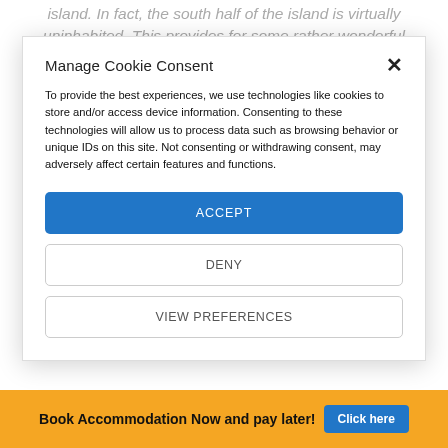island. In fact, the south half of the island is virtually uninhabited. This provides for some rather wonderful
Manage Cookie Consent
To provide the best experiences, we use technologies like cookies to store and/or access device information. Consenting to these technologies will allow us to process data such as browsing behavior or unique IDs on this site. Not consenting or withdrawing consent, may adversely affect certain features and functions.
ACCEPT
DENY
VIEW PREFERENCES
Book Accommodation Now and pay later! Click here